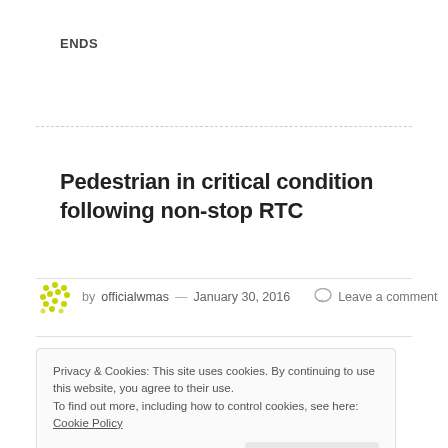ENDS
Pedestrian in critical condition following non-stop RTC
by officialwmas — January 30, 2016  Leave a comment
Privacy & Cookies: This site uses cookies. By continuing to use this website, you agree to their use.
To find out more, including how to control cookies, see here: Cookie Policy
Close and accept